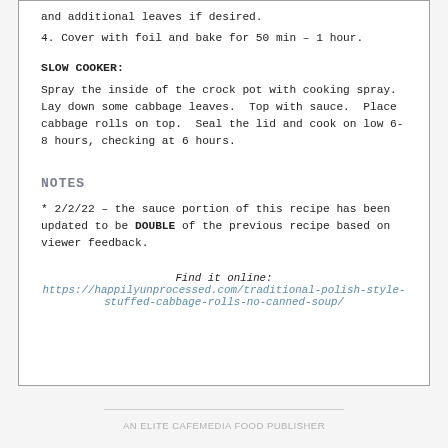and additional leaves if desired.
4. Cover with foil and bake for 50 min – 1 hour.
SLOW COOKER:
Spray the inside of the crock pot with cooking spray.  Lay down some cabbage leaves.  Top with sauce.  Place cabbage rolls on top.  Seal the lid and cook on low 6- 8 hours, checking at 6 hours.
NOTES
* 2/2/22 – the sauce portion of this recipe has been updated to be DOUBLE of the previous recipe based on viewer feedback.
Find it online: https://happilyunprocessed.com/traditional-polish-style-stuffed-cabbage-rolls-no-canned-soup/
AN ELITE CAFEMEDIA FOOD PUBLISHER